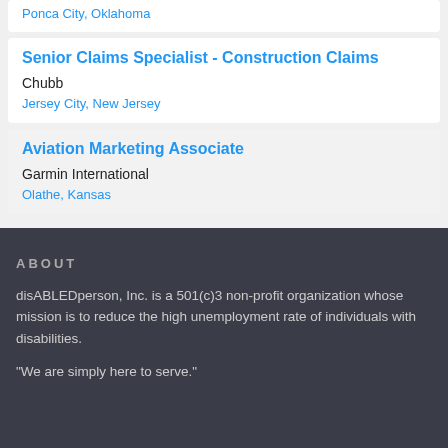Ponca City, Oklahoma
Senior Claims Specialist - Construction Claims
Chubb
Jersey City, New Jersey
Aviation Marketing Associate
Garmin International
Olathe, Kansas
ABOUT
disABLEDperson, Inc. is a 501(c)3 non-profit organization whose mission is to reduce the high unemployment rate of individuals with disabilities.
"We are simply here to serve."